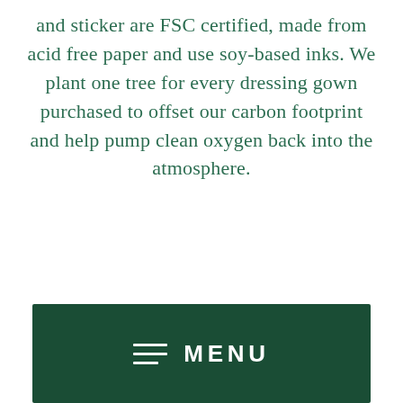and sticker are FSC certified, made from acid free paper and use soy-based inks. We plant one tree for every dressing gown purchased to offset our carbon footprint and help pump clean oxygen back into the atmosphere.
[Figure (photo): A mostly blank/light beige rectangular area representing an image placeholder]
≡ MENU